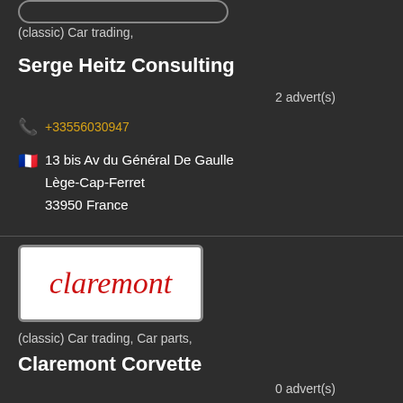(classic) Car trading,
Serge Heitz Consulting
2 advert(s)
+33556030947
13 bis Av du Général De Gaulle
Lège-Cap-Ferret
33950 France
[Figure (logo): Claremont logo: red italic text 'claremont' on white background with rounded rectangle border]
(classic) Car trading, Car parts,
Claremont Corvette
0 advert(s)